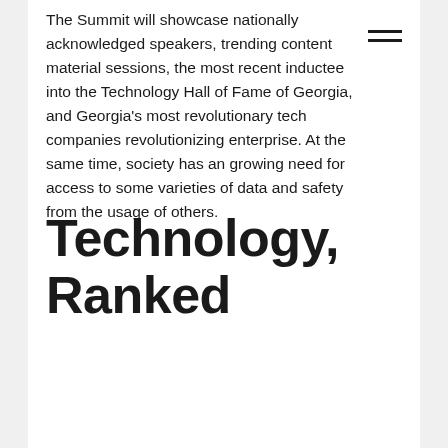The Summit will showcase nationally acknowledged speakers, trending content material sessions, the most recent inductee into the Technology Hall of Fame of Georgia, and Georgia's most revolutionary tech companies revolutionizing enterprise. At the same time, society has an growing need for access to some varieties of data and safety from the usage of others.
Technology, Ranked